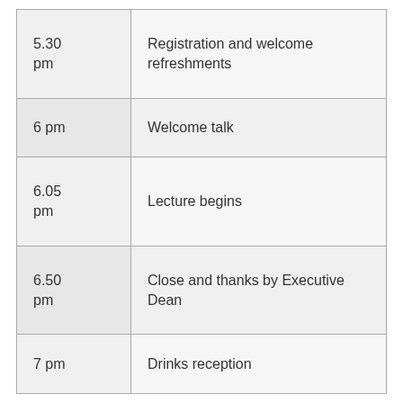| Time | Event |
| --- | --- |
| 5.30 pm | Registration and welcome refreshments |
| 6 pm | Welcome talk |
| 6.05 pm | Lecture begins |
| 6.50 pm | Close and thanks by Executive Dean |
| 7 pm | Drinks reception |